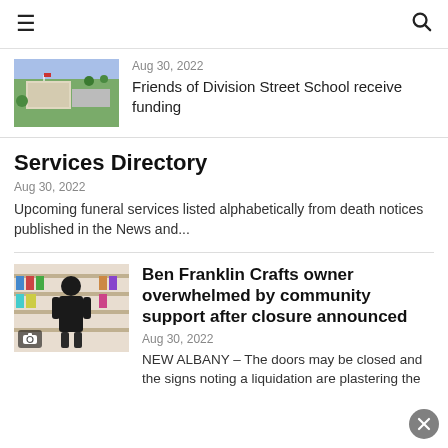☰  🔍
[Figure (photo): Aerial view of a school or park area]
Aug 30, 2022
Friends of Division Street School receive funding
Services Directory
Aug 30, 2022
Upcoming funeral services listed alphabetically from death notices published in the News and...
[Figure (photo): Man in black shirt standing inside a craft store]
Ben Franklin Crafts owner overwhelmed by community support after closure announced
Aug 30, 2022
NEW ALBANY – The doors may be closed and the signs noting a liquidation are plastering the